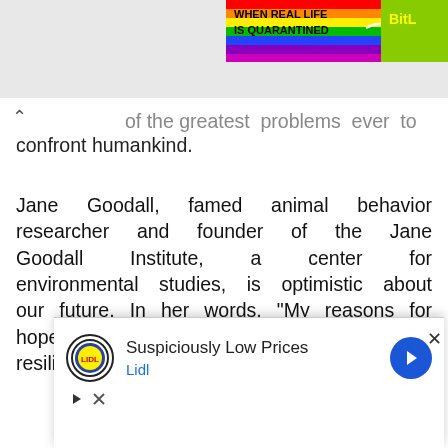[Figure (screenshot): Top right corner: colorful rainbow-striped advertisement banner reading 'WHEN REAL LIFE IS QUARANTINED' with BitL logo on yellow-green background]
of the greatest problems ever to confront humankind.
Jane Goodall, famed animal behavior researcher and founder of the Jane Goodall Institute, a center for environmental studies, is optimistic about our future. In her words, "My reasons for hope are fourfold: (1) the human brain; (2) the resilience of nature; (3) the energy and
[Figure (screenshot): Bottom advertisement overlay: Lidl logo with text 'Suspiciously Low Prices' and 'Lidl', with a blue navigation arrow button. Below are play and close (x) icons.]